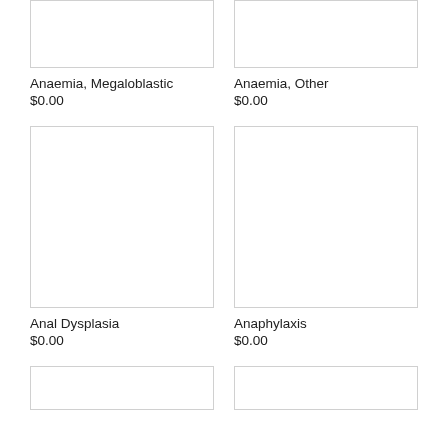[Figure (other): Empty white box with border for Anaemia, Megaloblastic product image]
[Figure (other): Empty white box with border for Anaemia, Other product image]
Anaemia, Megaloblastic
$0.00
Anaemia, Other
$0.00
[Figure (other): Empty white box with border for Anal Dysplasia product image]
[Figure (other): Empty white box with border for Anaphylaxis product image]
Anal Dysplasia
$0.00
Anaphylaxis
$0.00
[Figure (other): Empty white box with border, partially visible at bottom left]
[Figure (other): Empty white box with border, partially visible at bottom right]